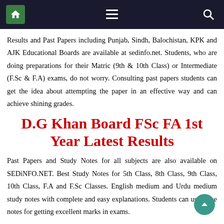Navigation bar with home, menu, and search icons
Results and Past Papers including Punjab, Sindh, Balochistan, KPK and AJK Educational Boards are available at sedinfo.net. Students, who are doing preparations for their Matric (9th & 10th Class) or Intermediate (F.Sc & F.A) exams, do not worry. Consulting past papers students can get the idea about attempting the paper in an effective way and can achieve shining grades.
D.G Khan Board FSc FA 1st Year Latest Results
Past Papers and Study Notes for all subjects are also available on SEDiNFO.NET. Best Study Notes for 5th Class, 8th Class, 9th Class, 10th Class, F.A and F.Sc Classes. English medium and Urdu medium study notes with complete and easy explanations. Students can use these notes for getting excellent marks in exams.